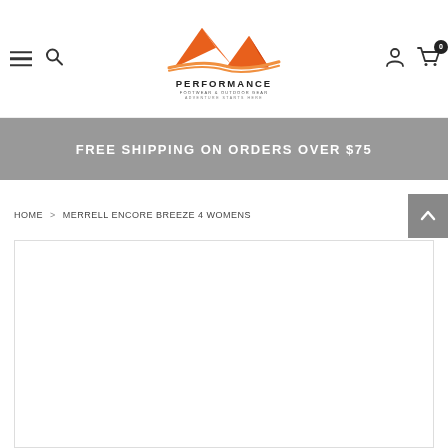[Figure (logo): Performance Footwear & Outdoor Gear logo with mountain/road graphic in orange, with text PERFORMANCE FOOTWEAR & OUTDOOR GEAR ADVENTURE STARTS HERE]
FREE SHIPPING ON ORDERS OVER $75
HOME > MERRELL ENCORE BREEZE 4 WOMENS
[Figure (photo): Product image area (white/blank, product not yet loaded)]